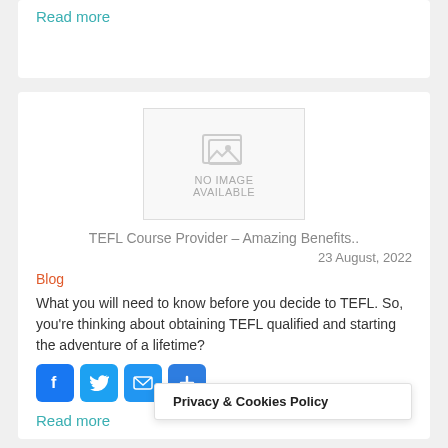Read more
[Figure (other): No image available placeholder with image icon]
TEFL Course Provider – Amazing Benefits..
23 August, 2022
Blog
What you will need to know before you decide to TEFL. So, you're thinking about obtaining TEFL qualified and starting the adventure of a lifetime?
[Figure (other): Social share buttons: Facebook, Twitter, Email, Plus]
Privacy & Cookies Policy
Read more